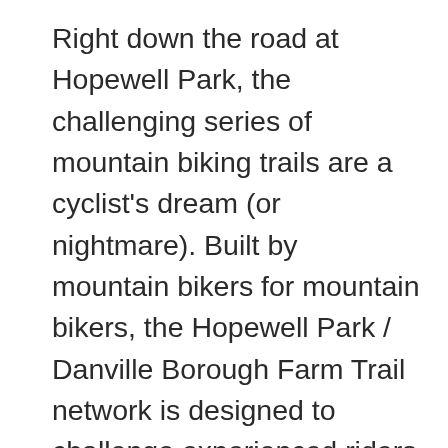Right down the road at Hopewell Park, the challenging series of mountain biking trails are a cyclist's dream (or nightmare). Built by mountain bikers for mountain bikers, the Hopewell Park / Danville Borough Farm Trail network is designed to challenge experienced riders while still allowing beginners to enjoy a great day on the trail. The trails make use of the varied terrain and feature both manmade and nature-made twists and turns that will keep you coming back for more. With more than 11 miles of trails built so far and more in the works, there are plenty of options to keep you riding. Plus, a specially constructed jump...